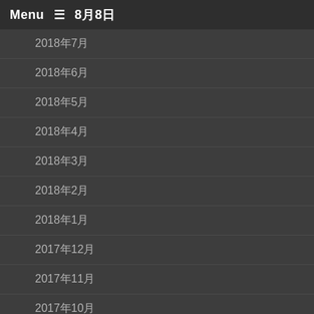Menu ≡ 8月8日
2018年7月
2018年6月
2018年5月
2018年4月
2018年3月
2018年2月
2018年1月
2017年12月
2017年11月
2017年10月
2017年9月